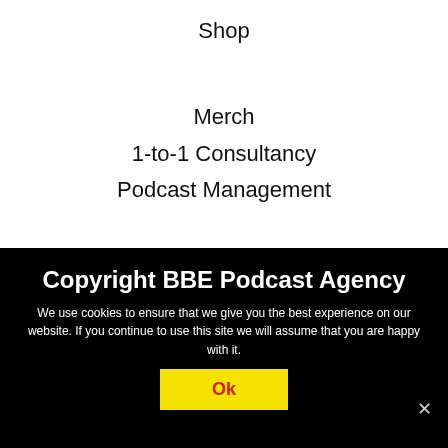Shop
Merch
1-to-1 Consultancy
Podcast Management
Copyright BBE Podcast Agency
We use cookies to ensure that we give you the best experience on our website. If you continue to use this site we will assume that you are happy with it.
Ok